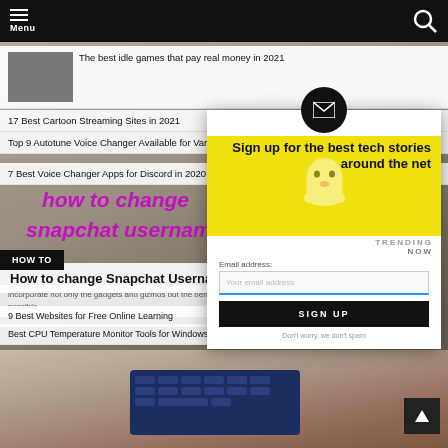Menu
[Figure (screenshot): Navigation bar with hamburger menu icon and search icon on black background]
The best idle games that pay real money in 2021
17 Best Cartoon Streaming Sites in 2021
Top 9 Autotune Voice Changer Available for Various Devices
7 Best Voice Changer Apps for Discord in 2020
9 Best Websites for Free Online Learning
Best CPU Temperature Monitor Tools for Windows (Free)
HOW TO
How to change Snapchat Username
[Figure (screenshot): Email newsletter signup modal overlay with Snapchat ghost logo on yellow background, Sign up for the best tech stories around the net, trending now section, email input field, SIGN UP button, and dont worry we dont spam text]
Sign up for the best tech stories around the net
TRENDING NOW
Email address:
Your email address
SIGN UP
Dont worry, we don't spam
incorporate not only the gadgets and gizmos but the behind-the-scenes who made it all possible
[Figure (photo): Hands with red fingernails typing on a smartphone keyboard, simulating the article about changing Snapchat username]